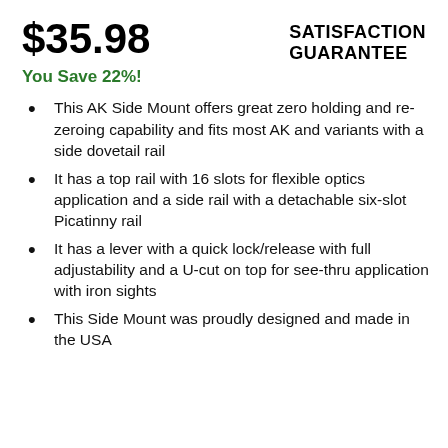$35.98
SATISFACTION GUARANTEE
You Save 22%!
This AK Side Mount offers great zero holding and re-zeroing capability and fits most AK and variants with a side dovetail rail
It has a top rail with 16 slots for flexible optics application and a side rail with a detachable six-slot Picatinny rail
It has a lever with a quick lock/release with full adjustability and a U-cut on top for see-thru application with iron sights
This Side Mount was proudly designed and made in the USA